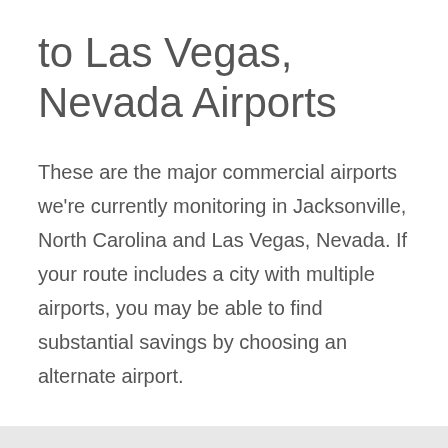to Las Vegas, Nevada Airports
These are the major commercial airports we're currently monitoring in Jacksonville, North Carolina and Las Vegas, Nevada. If your route includes a city with multiple airports, you may be able to find substantial savings by choosing an alternate airport.
Jacksonville Albert J Ellis (OAJ)
Las Vegas McCarran International (LAS)
Las Vegas Boulder City Municipal (BLD)